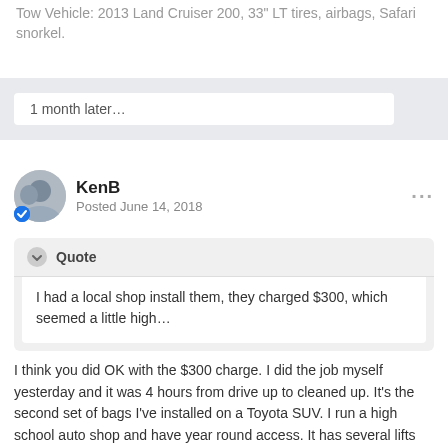Tow Vehicle: 2013 Land Cruiser 200, 33" LT tires, airbags, Safari snorkel.
1 month later...
KenB
Posted June 14, 2018
Quote
I had a local shop install them, they charged $300, which seemed a little high...
I think you did OK with the $300 charge. I did the job myself yesterday and it was 4 hours from drive up to cleaned up. It's the second set of bags I've installed on a Toyota SUV. I run a high school auto shop and have year round access. It has several lifts and a full